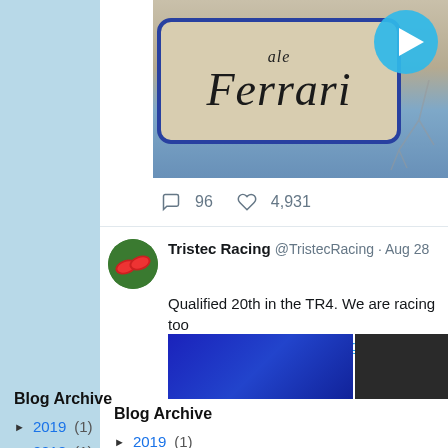[Figure (screenshot): Partial Ferrari street sign with blue play button overlay and sky background]
96   4,931
Tristec Racing @TristecRacing · Aug 28
Qualified 20th in the TR4. We are racing too
@Silverclassic @mracinglegends
[Figure (screenshot): Two cropped images from tweet: blue scoreboard and dark racing photo]
Blog Archive
► 2019 (1)
► 2018 (1)
► 2017 (1)